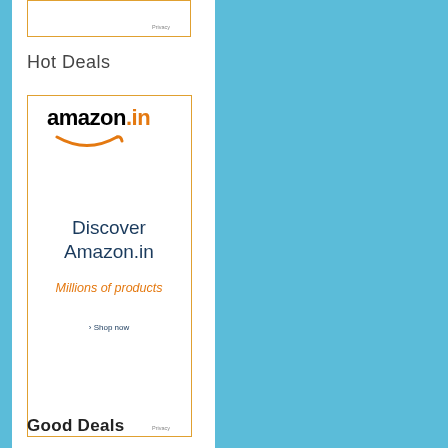[Figure (other): Top advertisement box (partially visible), white background with orange border]
Hot Deals
[Figure (logo): Amazon.in advertisement banner showing amazon.in logo with smile arrow, text 'Discover Amazon.in', 'Millions of products', and '> Shop now' link, orange border]
Privacy
Good Deals